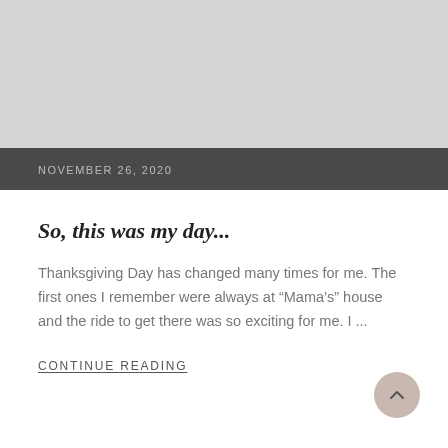NOVEMBER 26, 2020
So, this was my day...
Thanksgiving Day has changed many times for me. The first ones I remember were always at “Mama’s” house and the ride to get there was so exciting for me. I ...
CONTINUE READING